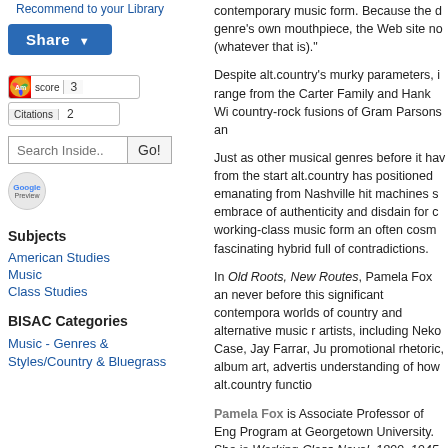Recommend to your Library
Share
Am score 3
Citations 2
Search Inside.. Go!
Google Preview
Subjects
American Studies
Music
Class Studies
BISAC Categories
Music - Genres & Styles/Country & Bluegrass
contemporary music form. Because the d genre's own mouthpiece, the Web site no (whatever that is)."
Despite alt.country's murky parameters, i range from the Carter Family and Hank Wi country-rock fusions of Gram Parsons an
Just as other musical genres before it hav from the start alt.country has positioned emanating from Nashville hit machines s embrace of authenticity and disdain for c working-class music form an often cosm fascinating hybrid full of contradictions.
In Old Roots, New Routes, Pamela Fox an never before this significant contempora worlds of country and alternative music r artists, including Neko Case, Jay Farrar, Ju promotional rhetoric, album art, advertis understanding of how alt.country functio
Pamela Fox is Associate Professor of Eng Program at Georgetown University. She is Working-Class Novel, 1899–1945